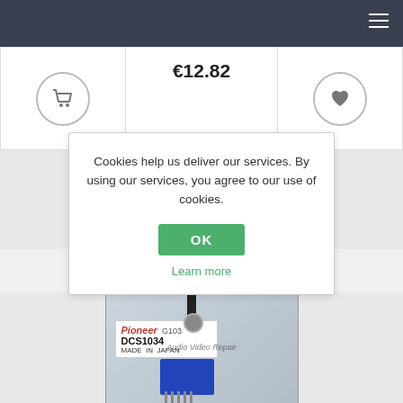€12.82
Cookies help us deliver our services. By using our services, you agree to our use of cookies.
OK
Learn more
[Figure (photo): Pioneer DCS1034 potentiometer component, made in Japan, shown in original packaging with Pioneer label reading 'Pioneer G103 DCS1034 MADE IN JAPAN'. The component is a rotary potentiometer with blue base and metal shaft, overlaid with 'Audio Video Repair' watermark text.]